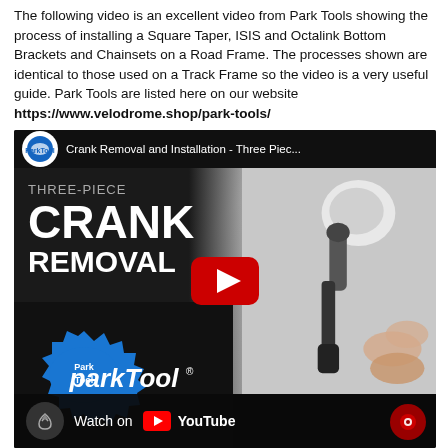The following video is an excellent video from Park Tools showing the process of installing a Square Taper, ISIS and Octalink Bottom Brackets and Chainsets on a Road Frame. The processes shown are identical to those used on a Track Frame so the video is a very useful guide. Park Tools are listed here on our website https://www.velodrome.shop/park-tools/
[Figure (screenshot): YouTube video thumbnail for Park Tool's 'Crank Removal and Installation - Three Piece' video, showing THREE-PIECE CRANK REMOVAL text overlay on the left with a Park Tool logo badge at the bottom left, and a hand holding a bike tool on the right. Red YouTube play button in center. 'Watch on YouTube' bar at bottom.]